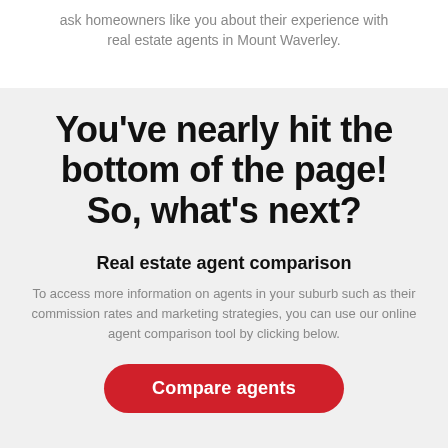ask homeowners like you about their experience with real estate agents in Mount Waverley.
You've nearly hit the bottom of the page! So, what's next?
Real estate agent comparison
To access more information on agents in your suburb such as their commission rates and marketing strategies, you can use our online agent comparison tool by clicking below.
Compare agents